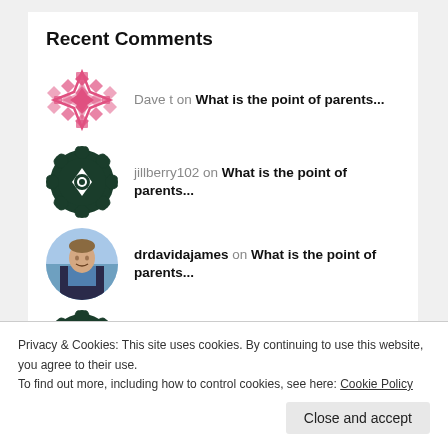Recent Comments
Dave t on What is the point of parents...
jillberry102 on What is the point of parents...
drdavidajames on What is the point of parents...
jillberry102 on What is the point of parents...
Privacy & Cookies: This site uses cookies. By continuing to use this website, you agree to their use.
To find out more, including how to control cookies, see here: Cookie Policy
Close and accept